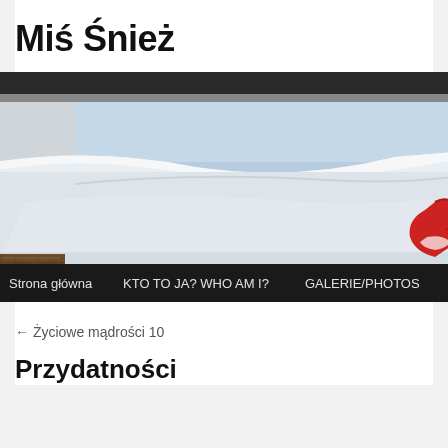Miś Śnież
[Figure (photo): A snow-covered outdoor scene showing a white snowy surface and ledge, with a red gloved hand visible on the right edge and a wooden surface at bottom left. Navigation bar overlaid at bottom with menu items: Strona główna, KTO TO JA? WHO AM I?, GALERIE/PHOTOS]
← Życiowe mądrości 10
Przydatności